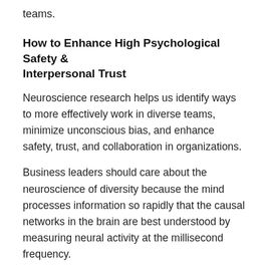teams.
How to Enhance High Psychological Safety & Interpersonal Trust
Neuroscience research helps us identify ways to more effectively work in diverse teams, minimize unconscious bias, and enhance safety, trust, and collaboration in organizations.
Business leaders should care about the neuroscience of diversity because the mind processes information so rapidly that the causal networks in the brain are best understood by measuring neural activity at the millisecond frequency.
For example, one study Zak did at an innovative technology company found that when employees in